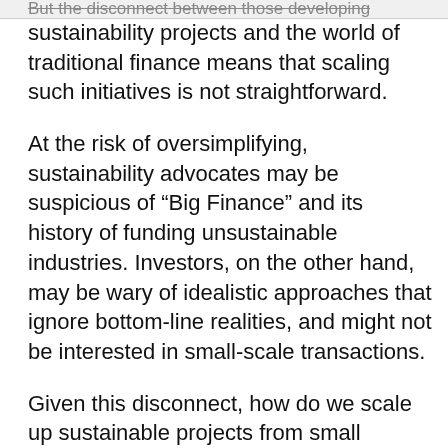But the disconnect between those developing
sustainability projects and the world of traditional finance means that scaling such initiatives is not straightforward.
At the risk of oversimplifying, sustainability advocates may be suspicious of “Big Finance” and its history of funding unsustainable industries. Investors, on the other hand, may be wary of idealistic approaches that ignore bottom-line realities, and might not be interested in small-scale transactions.
Given this disconnect, how do we scale up sustainable projects from small investments to the $100 million-plus range that begins to attract Big Finance and thus the trillions of dollars needed to make a global difference?
Three steps in particular are necessary. First, securitisation techniques should be employed to